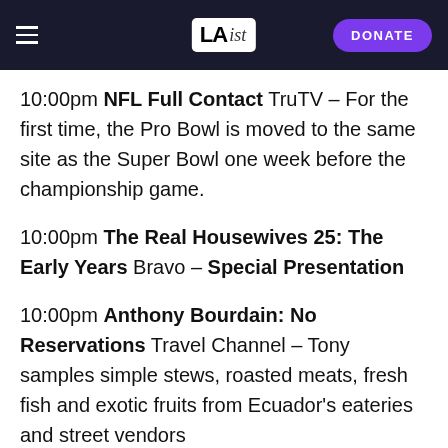LAist | DONATE
10:00pm NFL Full Contact TruTV - For the first time, the Pro Bowl is moved to the same site as the Super Bowl one week before the championship game.
10:00pm The Real Housewives 25: The Early Years Bravo - Special Presentation
10:00pm Anthony Bourdain: No Reservations Travel Channel - Tony samples simple stews, roasted meats, fresh fish and exotic fruits from Ecuador's eateries and street vendors